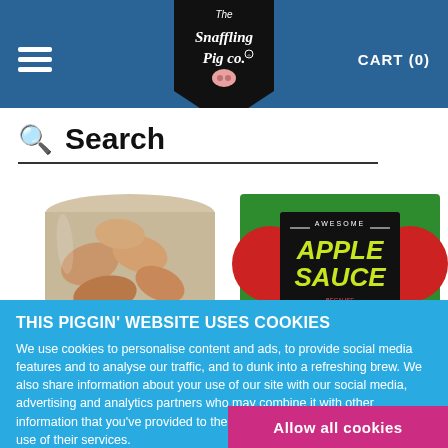The Snaffling Pig Co. — CART (0)
Search
[Figure (photo): Product photo showing a jar of pork scratchings and a tin of Apple Sauce by The Snaffling Pig Co.]
THIS PIGGIN' WEBSITE USES COOKIES
We use cookies to personalise content and ads, to provide social media features and to analyse our traffic, and to dunk into a refreshing brew. We also share information about your use of our site with our social media, advertising and analytics partners who may combine it with other information that you've provided to them or that they've collected from your use of their services.
Allow all cookies